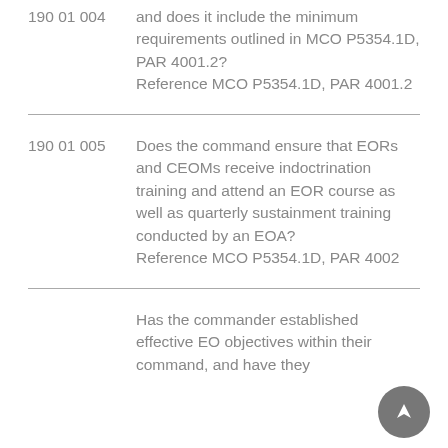190 01 004 — and does it include the minimum requirements outlined in MCO P5354.1D, PAR 4001.2? Reference MCO P5354.1D, PAR 4001.2
190 01 005 — Does the command ensure that EORs and CEOMs receive indoctrination training and attend an EOR course as well as quarterly sustainment training conducted by an EOA? Reference MCO P5354.1D, PAR 4002
Has the commander established effective EO objectives within their command, and have they